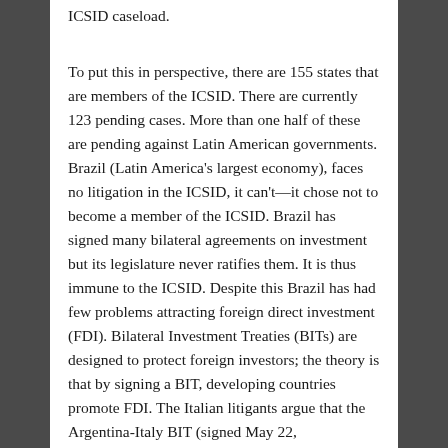ICSID caseload.
To put this in perspective, there are 155 states that are members of the ICSID. There are currently 123 pending cases. More than one half of these are pending against Latin American governments. Brazil (Latin America's largest economy), faces no litigation in the ICSID, it can't—it chose not to become a member of the ICSID. Brazil has signed many bilateral agreements on investment but its legislature never ratifies them. It is thus immune to the ICSID. Despite this Brazil has had few problems attracting foreign direct investment (FDI). Bilateral Investment Treaties (BITs) are designed to protect foreign investors; the theory is that by signing a BIT, developing countries promote FDI. The Italian litigants argue that the Argentina-Italy BIT (signed May 22,